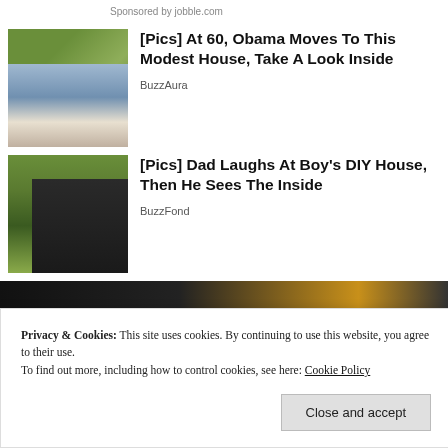Sponsored by jobble.com
[Figure (photo): Photo of two people wearing sunglasses outdoors with green foliage background]
[Pics] At 60, Obama Moves To This Modest House, Take A Look Inside
BuzzAura
[Figure (photo): Photo of a DIY shed/house made of dark fabric panels in a garden, with a child standing in the doorway and a ladder visible]
[Pics] Dad Laughs At Boy's DIY House, Then He Sees The Inside
BuzzFond
[Figure (photo): Partial view of a dark image at the bottom of the page]
Privacy & Cookies: This site uses cookies. By continuing to use this website, you agree to their use.
To find out more, including how to control cookies, see here: Cookie Policy
Close and accept